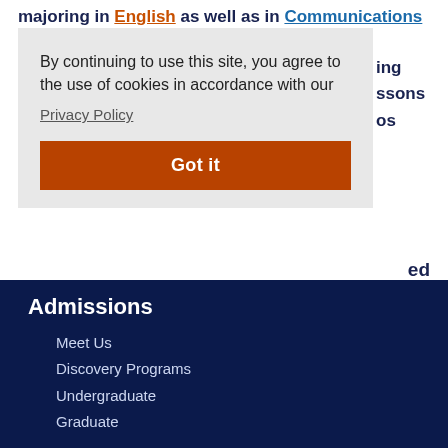majoring in English as well as in Communications and
[Figure (screenshot): Cookie consent banner overlay with text 'By continuing to use this site, you agree to the use of cookies in accordance with our Privacy Policy' and a 'Got it' button]
past. Along with Write Out, she is also working with the Sustainability Research Project based in the School of Design.
Admissions
Meet Us
Discovery Programs
Undergraduate
Graduate